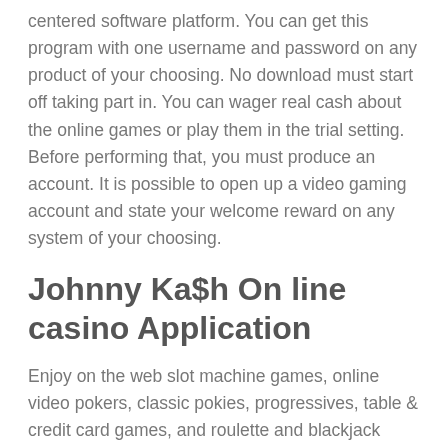centered software platform. You can get this program with one username and password on any product of your choosing. No download must start off taking part in. You can wager real cash about the online games or play them in the trial setting. Before performing that, you must produce an account. It is possible to open up a video gaming account and state your welcome reward on any system of your choosing.
Johnny Ka$h On line casino Application
Enjoy on the web slot machine games, online video pokers, classic pokies, progressives, table & credit card games, and roulette and blackjack versions from several video game suppliers with your browser at Johnny Ka$h Internet casino. There is absolutely no requirement for any software or application download as Johnny Ka$h Internet casino is fully browser structured. Even so, you will need to open up